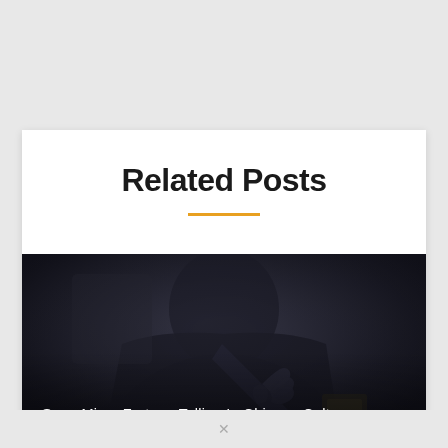Related Posts
[Figure (photo): Dark photo of a person in a dark jacket gesturing with one hand, possibly a fortune teller or Chinese cultural practitioner, with text overlay reading 'Suan Ming: Fortune Telling In Chinese Culture']
Suan Ming: Fortune Telling In Chinese Culture